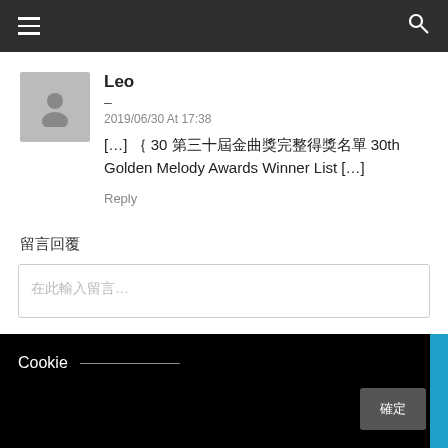Navigation bar with hamburger menu and search icon
Leo
–
2019/06/30 At 17:38
[…] ｛ 30 第三十屆金曲獎完整得獎名單 30th Golden Melody Awards Winner List […]
Reply
留言回覆
在此輸入留言…